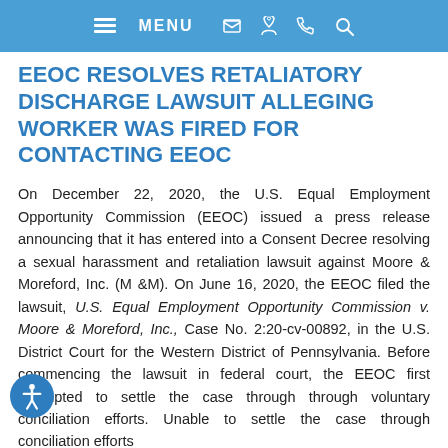MENU [phone] [email] [location] [search]
EEOC RESOLVES RETALIATORY DISCHARGE LAWSUIT ALLEGING WORKER WAS FIRED FOR CONTACTING EEOC
On December 22, 2020, the U.S. Equal Employment Opportunity Commission (EEOC) issued a press release announcing that it has entered into a Consent Decree resolving a sexual harassment and retaliation lawsuit against Moore & Moreford, Inc. (M &M). On June 16, 2020, the EEOC filed the lawsuit, U.S. Equal Employment Opportunity Commission v. Moore & Moreford, Inc., Case No. 2:20-cv-00892, in the U.S. District Court for the Western District of Pennsylvania. Before commencing the lawsuit in federal court, the EEOC first attempted to settle the case through through voluntary conciliation efforts. Unable to settle the case through conciliation efforts...